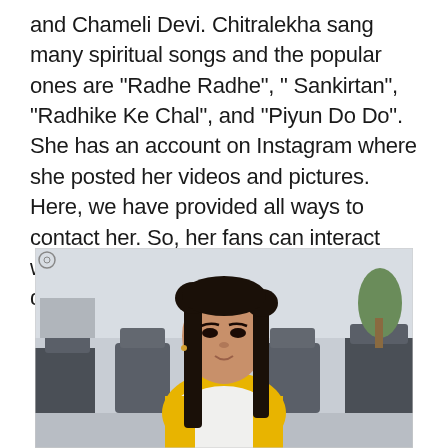and Chameli Devi. Chitralekha sang many spiritual songs and the popular ones are “Radhe Radhe”, “ Sankirtan”, “Radhike Ke Chal”, and “Piyun Do Do”. She has an account on Instagram where she posted her videos and pictures. Here, we have provided all ways to contact her. So, her fans can interact with her then you can use the contact details.
[Figure (photo): A young woman with long dark hair wearing a yellow top and white dupatta/scarf, sitting in what appears to be an office or waiting area with dark chairs in the background.]